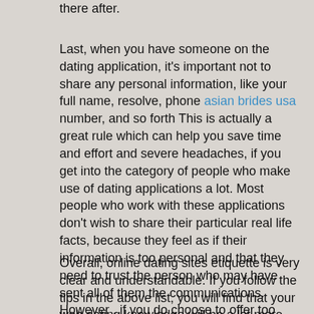there after.
Last, when you have someone on the dating application, it's important not to share any personal information, like your full name, resolve, phone asian brides usa number, and so forth This is actually a great rule which can help you save time and effort and severe headaches, if you get into the category of people who make use of dating applications a lot. Most people who work with these applications don't wish to share their particular real life facts, because they feel as if their information is too personal and that they need to trust the person who may have sent all of them the communications. However , if you do choose to offer too much info, it's always a smart idea to put that information into an protected form, the same as when you type out a password on your computer.
Overall, online dating sites etiquette is very clear and understandable. If you follow the tips in the above list, you will find that your web dating knowledge will be a lot more enjoyable. Most people have a lot of trouble getting first dates, and this is specially if they're using the wrong kind of seeing site. By using a little time to find out